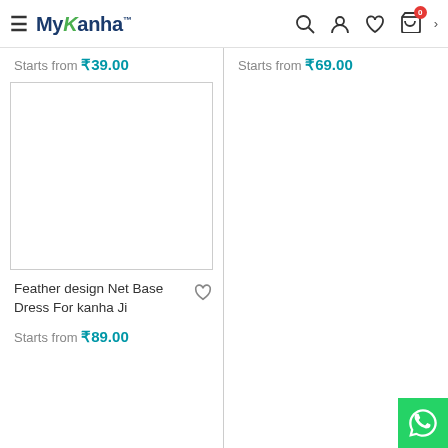[Figure (screenshot): MyKanha e-commerce website header with hamburger menu, logo, search icon, user icon, heart/wishlist icon, cart icon with badge showing 0, and chevron]
Starts from ₹39.00
Starts from ₹69.00
[Figure (photo): Product image placeholder (blank white box with border) for Feather design Net Base Dress For kanha Ji]
Feather design Net Base Dress For kanha Ji
Starts from ₹89.00
[Figure (logo): WhatsApp floating button in green]